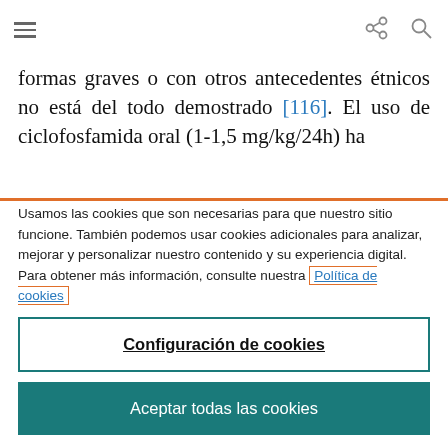[hamburger menu icon, share icon, search icon]
formas graves o con otros antecedentes étnicos no está del todo demostrado [116]. El uso de ciclofosfamida oral (1-1,5 mg/kg/24h) ha
Usamos las cookies que son necesarias para que nuestro sitio funcione. También podemos usar cookies adicionales para analizar, mejorar y personalizar nuestro contenido y su experiencia digital. Para obtener más información, consulte nuestra Política de cookies
Configuración de cookies
Aceptar todas las cookies